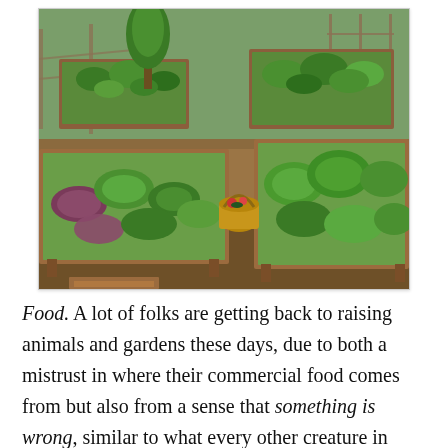[Figure (photo): Overhead angled view of a vegetable garden with multiple wooden raised bed planters filled with leafy greens and vegetables, surrounded by dirt pathways. A wicker basket sits in the center path. Wooden fence and trellis visible in background.]
Food. A lot of folks are getting back to raising animals and gardens these days, due to both a mistrust in where their commercial food comes from but also from a sense that something is wrong, similar to what every other creature in nature knows before a storm. While it's a little bit late into this planting season here in the Southeast, there's no reason not to take the